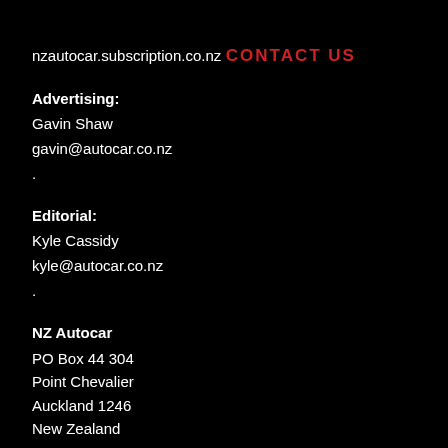nzautocar.subscription.co.nz
CONTACT US
Advertising:
Gavin Shaw
gavin@autocar.co.nz
.
Editorial:
Kyle Cassidy
kyle@autocar.co.nz
.
NZ Autocar
PO Box 44 304
Point Chevalier
Auckland 1246
New Zealand